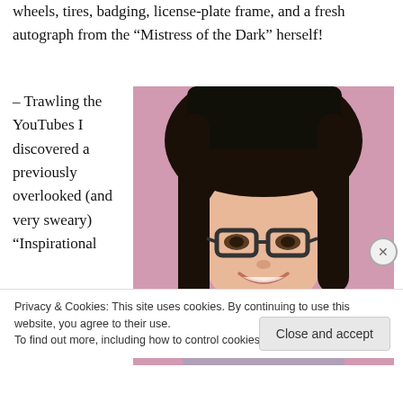wheels, tires, badging, license-plate frame, and a fresh autograph from the “Mistress of the Dark” herself!
– Trawling the YouTubes I discovered a previously overlooked (and very sweary) “Inspirational
[Figure (photo): A smiling woman with dark hair, bangs, and glasses, photographed against a pink background, wearing a light purple top.]
Privacy & Cookies: This site uses cookies. By continuing to use this website, you agree to their use.
To find out more, including how to control cookies, see here: Cookie Policy
Close and accept